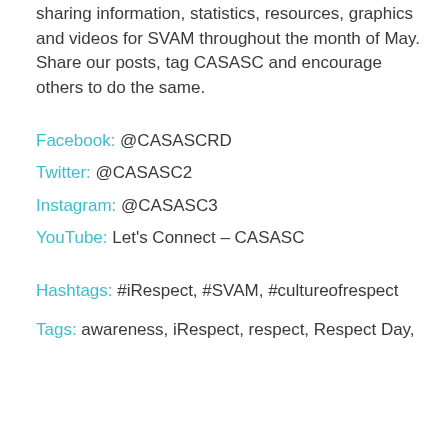sharing information, statistics, resources, graphics and videos for SVAM throughout the month of May. Share our posts, tag CASASC and encourage others to do the same.
Facebook: @CASASCRD
Twitter: @CASASC2
Instagram: @CASASC3
YouTube: Let's Connect – CASASC
Hashtags: #iRespect, #SVAM, #cultureofrespect
Tags: awareness, iRespect, respect, Respect Day,